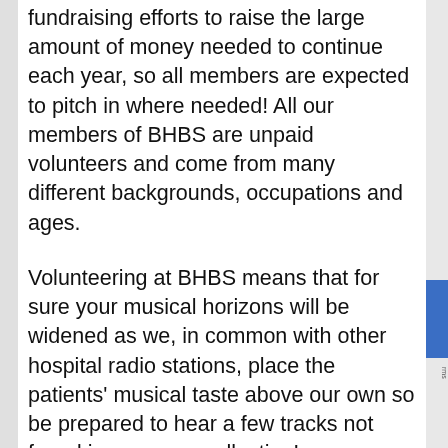fundraising efforts to raise the large amount of money needed to continue each year, so all members are expected to pitch in where needed! All our members of BHBS are unpaid volunteers and come from many different backgrounds, occupations and ages.
Volunteering at BHBS means that for sure your musical horizons will be widened as we, in common with other hospital radio stations, place the patients' musical taste above our own so be prepared to hear a few tracks not found in your own collection!
Primarily our aim is to make patients stay in hospital as comfortable and relaxing as possible.  We visit patients on the wards every evening and provide that friendly face in a busy unfamiliar world. Volunteers with BHBS can undertake any number of roles –